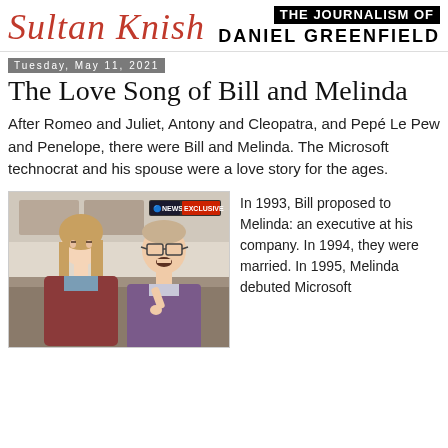Sultan Knish — The Journalism of Daniel Greenfield
Tuesday, May 11, 2021
The Love Song of Bill and Melinda
After Romeo and Juliet, Antony and Cleopatra, and Pepé Le Pew and Penelope, there were Bill and Melinda. The Microsoft technocrat and his spouse were a love story for the ages.
[Figure (photo): Bill Gates and Melinda Gates sitting together, with an ABC News Exclusive banner overlay in the top right corner.]
In 1993, Bill proposed to Melinda: an executive at his company. In 1994, they were married. In 1995, Melinda debuted Microsoft